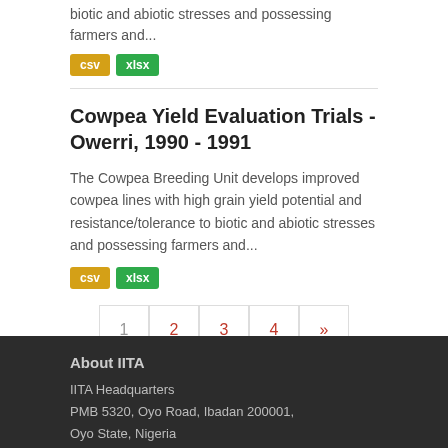biotic and abiotic stresses and possessing farmers and...
csv  xlsx
Cowpea Yield Evaluation Trials - Owerri, 1990 - 1991
The Cowpea Breeding Unit develops improved cowpea lines with high grain yield potential and resistance/tolerance to biotic and abiotic stresses and possessing farmers and...
csv  xlsx
1  2  3  4  »
You can also access this registry using the API (see API Docs).
About IITA
IITA Headquarters
PMB 5320, Oyo Road, Ibadan 200001,
Oyo State, Nigeria